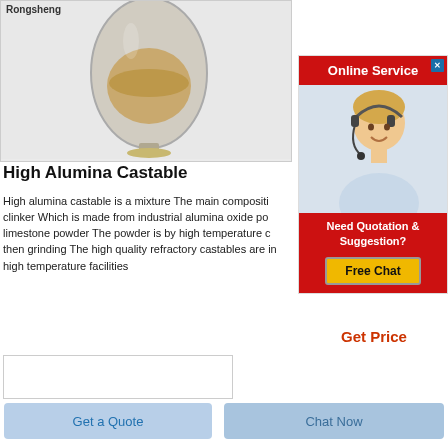[Figure (photo): Product photo: a glass/ceramic egg-shaped vase containing brown granular powder (alumina castable material), sitting on a gray background. Brand label 'Rongsheng' in top left.]
High Alumina Castable
High alumina castable is a mixture The main compositi clinker Which is made from industrial alumina oxide po limestone powder The powder is by high temperature c then grinding The high quality refractory castables are in high temperature facilities
[Figure (photo): Sidebar ad: Online Service banner with red header, photo of blonde woman agent wearing headset, Need Quotation & Suggestion section with Free Chat button.]
Get Price
Get a Quote
Chat Now